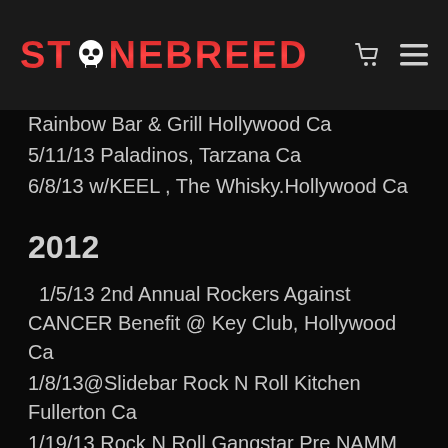STONEBREED
Rainbow Bar & Grill Hollywood Ca
5/11/13 Paladinos, Tarzana Ca
6/8/13 w/KEEL , The Whisky.Hollywood Ca
2012
1/5/13 2nd Annual Rockers Against CANCER Benefit @ Key Club, Hollywood Ca
1/8/13@Slidebar Rock N Roll Kitchen Fullerton Ca
1/19/13 Rock N Roll Gangstar Pre NAMM JAMM @ Delzanos, Redondo Beach Ca
1/21/13 w/STEEL PANTHER @ House Of Blues, Hollywood Ca